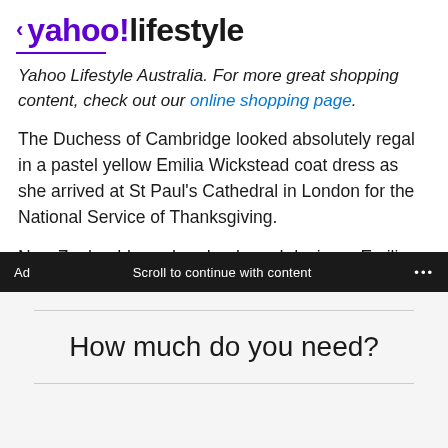< yahoo!lifestyle
Yahoo Lifestyle Australia. For more great shopping content, check out our online shopping page.
The Duchess of Cambridge looked absolutely regal in a pastel yellow Emilia Wickstead coat dress as she arrived at St Paul's Cathedral in London for the National Service of Thanksgiving.
New Zealand-born, London-based designer Emilia Wickstead is one of Kate Middleton's favourite and most-worn labels.
Ad   Scroll to continue with content   ...
How much do you need?